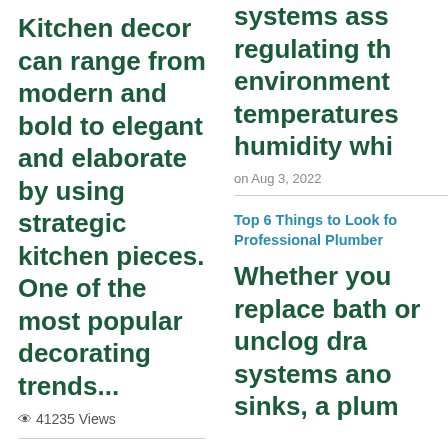Kitchen decor can range from modern and bold to elegant and elaborate by using strategic kitchen pieces. One of the most popular decorating trends...
👁 41235 Views
Gas Fireplace Diagnostics and Troubleshooting
Follow these steps for diagnosing and
systems ass regulating th environment temperatures humidity whi
on Aug 3, 2022
Top 6 Things to Look fo Professional Plumber
Whether you replace bath or unclog dra systems ano sinks, a plum